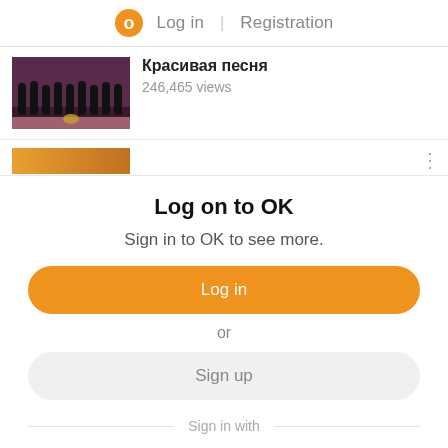Log in | Registration
[Figure (screenshot): Video thumbnail showing a choir group in formal attire on a stage with purple/maroon background]
Красивая песня
246,465 views
[Figure (screenshot): Partial video thumbnail with orange/golden background, partially visible]
Log on to OK
Sign in to OK to see more.
Log in
or
Sign up
Sign in with
[Figure (logo): Social login icons: VK (blue), Mail.ru @ (orange), Google G (white), Yandex Я (red), Apple (black)]